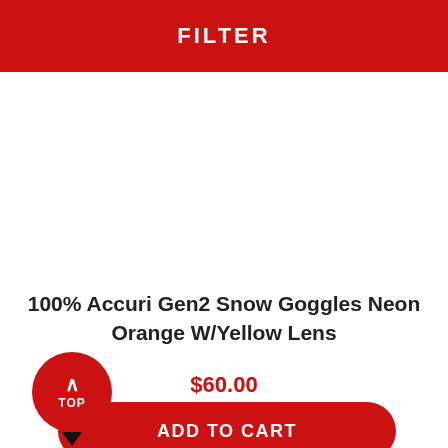FILTER
100% Accuri Gen2 Snow Goggles Neon Orange W/Yellow Lens
$60.00
ADD TO CART
TOP